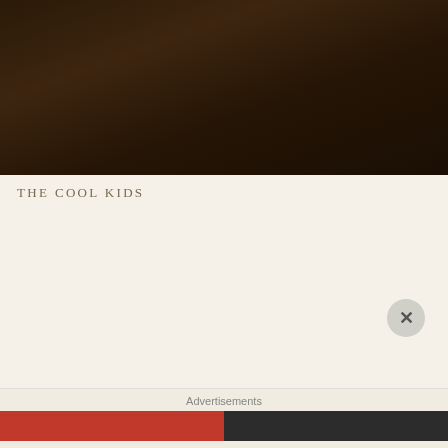[Figure (photo): Dark sepia-toned background image showing what appears to be stacked books or papers with very low lighting, brownish-dark tones]
THE COOL KIDS
[Figure (screenshot): Video player area with dark brownish background showing error message: 'The media could not be loaded, either because the server or network failed or because the format is not supported.' with a close/dismiss button (X) in bottom right corner]
Advertisements